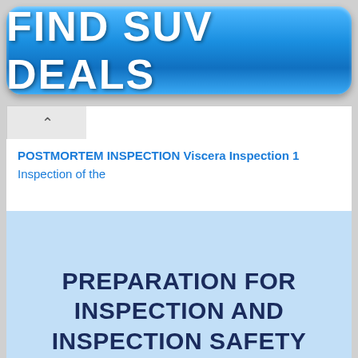[Figure (other): Blue rounded rectangle banner button with white bold text reading FIND SUV DEALS]
POSTMORTEM INSPECTION Viscera Inspection 1 Inspection of the
Preparation for Inspection
PREPARATION FOR INSPECTION AND INSPECTION SAFETY